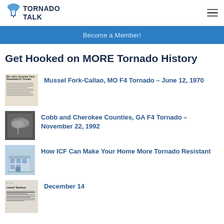TORNADO TALK
Become a Member!
Get Hooked on MORE Tornado History
Mussel Fork-Callao, MO F4 Tornado – June 12, 1970
Cobb and Cherokee Counties, GA F4 Tornado – November 22, 1992
How ICF Can Make Your Home More Tornado Resistant
December 14